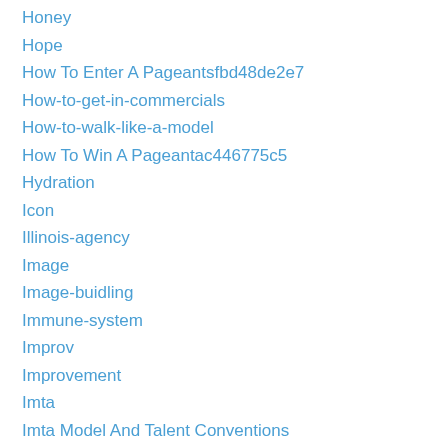Honey
Hope
How To Enter A Pageantsfbd48de2e7
How-to-get-in-commercials
How-to-walk-like-a-model
How To Win A Pageantac446775c5
Hydration
Icon
Illinois-agency
Image
Image-buidling
Immune-system
Improv
Improvement
Imta
Imta Model And Talent Conventions
Inspiration
Inspire
Insta
International-fashion-show
International Modeling Agency